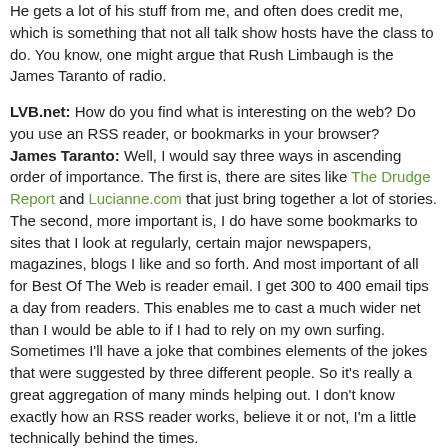He gets a lot of his stuff from me, and often does credit me, which is something that not all talk show hosts have the class to do. You know, one might argue that Rush Limbaugh is the James Taranto of radio.
LVB.net: How do you find what is interesting on the web? Do you use an RSS reader, or bookmarks in your browser? James Taranto: Well, I would say three ways in ascending order of importance. The first is, there are sites like The Drudge Report and Lucianne.com that just bring together a lot of stories. The second, more important is, I do have some bookmarks to sites that I look at regularly, certain major newspapers, magazines, blogs I like and so forth. And most important of all for Best Of The Web is reader email. I get 300 to 400 email tips a day from readers. This enables me to cast a much wider net than I would be able to if I had to rely on my own surfing. Sometimes I'll have a joke that combines elements of the jokes that were suggested by three different people. So it's really a great aggregation of many minds helping out. I don't know exactly how an RSS reader works, believe it or not, I'm a little technically behind the times.
"You can't really have government licensing journalists", James said. Well ... in Belgium, the government is licensing journalists. The law of 30 December 1963 regulates the officially protected title of "journalist". Official press cards for professional journalists have the signature of the Minister of the Interior. In 2002, there were some 4,800 officially recognized journalists in Belgium.